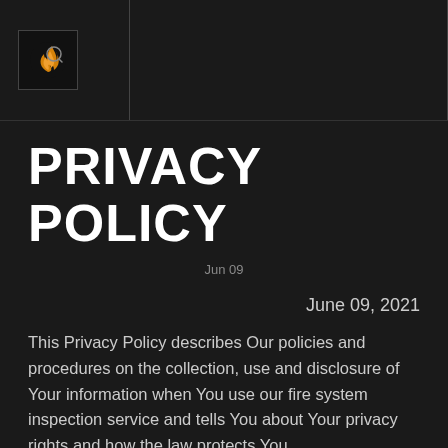Logo header bar with fire inspection service logo
PRIVACY POLICY
Jun 09
June 09, 2021
This Privacy Policy describes Our policies and procedures on the collection, use and disclosure of Your information when You use our fire system inspection service and tells You about Your privacy rights and how the law protects You.
We use Your Personal data to provide and improve the